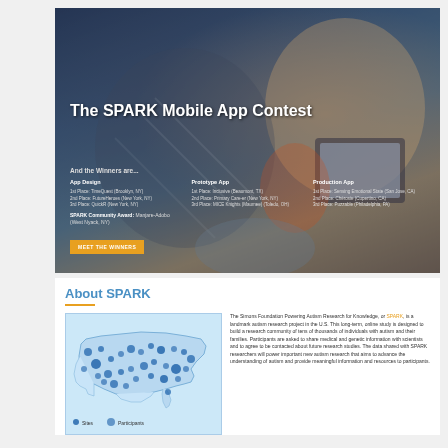[Figure (photo): Hero banner photo of a woman and child looking at a tablet, overlaid with dark blue tint. Text overlay shows 'The SPARK Mobile App Contest' as title, contest winners in three categories (App Design, Prototype App, Production App), and a SPARK Community Award. A yellow 'MEET THE WINNERS' button is visible.]
The SPARK Mobile App Contest
And the Winners are...
App Design
1st Place: TimeQuest (Brooklyn, NY)
2nd Place: FutureHeroes (New York, NY)
3rd Place: QuickR (New York, NY)
Prototype App
1st Place: Inclusive (Beaumont, TX)
2nd Place: Primary Care-er (New York, NY)
3rd Place: MICE Knights (Maumee) (Toledo, OH)
Production App
1st Place: Sensing Emotional State (San Jose, CA)
2nd Place: Chorosie (Cupertino, CA)
3rd Place: Puzzable (Philadelphia, PA)
SPARK Community Award: Manjare-Adobo (West Nyack, NY)
About SPARK
[Figure (map): Map of the United States showing SPARK research participant locations as blue dots/circles of varying sizes scattered across the country.]
The Simons Foundation Powering Autism Research for Knowledge, or SPARK, is a landmark autism research project in the U.S. This long-term, online study is designed to build a research community of tens of thousands of individuals with autism and their families. Participants are asked to share medical and genetic information with scientists and to agree to be contacted about future research studies. The data shared with SPARK researchers will power important new autism research that aims to advance the understanding of autism and provide meaningful information and resources to participants.